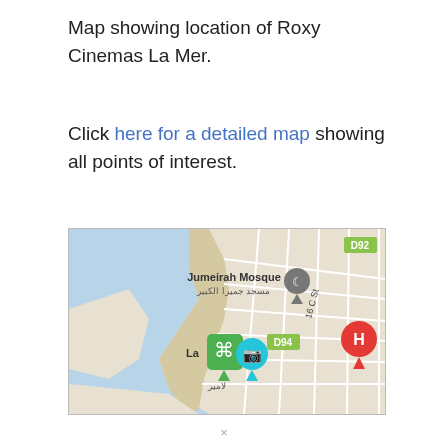Map showing location of Roxy Cinemas La Mer.
Click here for a detailed map showing all points of interest.
[Figure (map): Google Maps view showing La Mer area in Jumeirah, Dubai. Shows Jumeirah Mosque landmark, La Mer location marker with green icon, a teal camera pin marker, a red hospital (H) marker, road labels D92 and D94, and Arabic text labels. Coastal area visible with blue water to the left.]